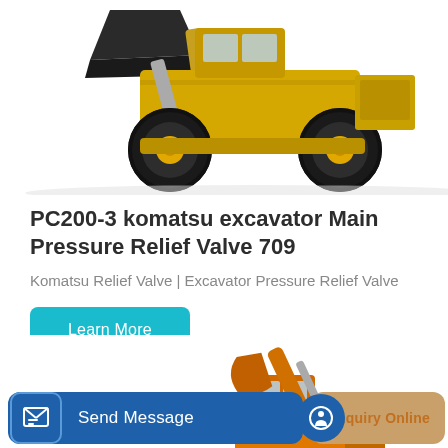[Figure (photo): Yellow front loader / wheel loader construction machine (Komatsu), partially cropped at top of page]
PC200-3 komatsu excavator Main Pressure Relief Valve 709
Komatsu Relief Valve | Excavator Pressure Relief Valve
Learn More
[Figure (photo): Orange Hyundai excavator partially visible in lower portion of page]
Send Message
Inquiry Online